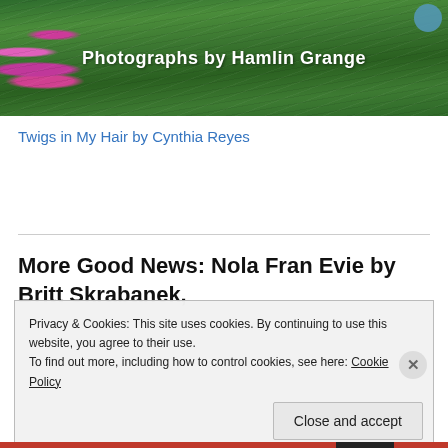[Figure (photo): Green grass background with pink flowers on the left and a small blue circular element in the top right corner. White bold text reads 'Photographs by Hamlin Grange'.]
Twigs in My Hair by Cynthia Reyes
More Good News: Nola Fran Evie by Britt Skrabanek,
Privacy & Cookies: This site uses cookies. By continuing to use this website, you agree to their use.
To find out more, including how to control cookies, see here: Cookie Policy
Close and accept